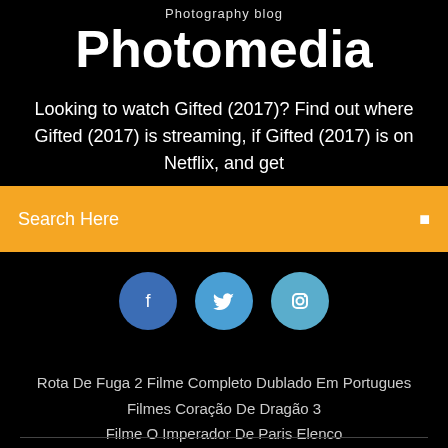Photography blog
Photomedia
Looking to watch Gifted (2017)? Find out where Gifted (2017) is streaming, if Gifted (2017) is on Netflix, and get
[Figure (screenshot): Orange search bar with text 'Search Here' and a search icon on the right]
[Figure (illustration): Three circular social media icons: Facebook (dark blue), Twitter (light blue), Instagram (teal/blue)]
Rota De Fuga 2 Filme Completo Dublado Em Portugues
Filmes Coração De Dragão 3
Filme O Imperador De Paris Elenco
Brooklyn 99 7 Temporada Netflix